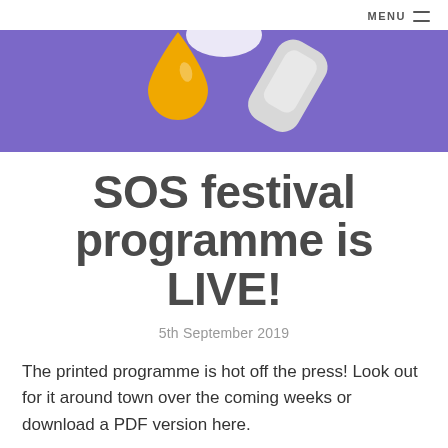MENU
[Figure (illustration): Purple banner with illustrated paint/craft items including an orange paint drop and a grey eraser/tool on a purple background]
SOS festival programme is LIVE!
5th September 2019
The printed programme is hot off the press! Look out for it around town over the coming weeks or download a PDF version here.